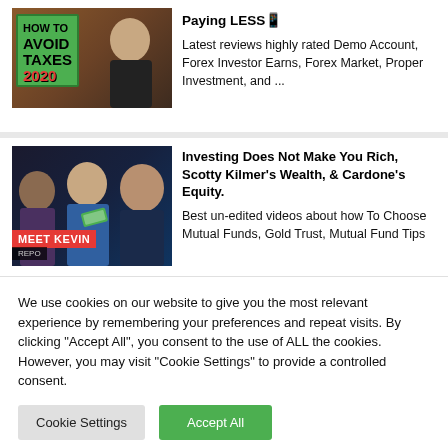[Figure (screenshot): Thumbnail image with green background showing 'AVOID TAXES 2020' text and a person]
Paying LESS
Latest reviews highly rated Demo Account, Forex Investor Earns, Forex Market, Proper Investment, and ...
[Figure (screenshot): Thumbnail image showing multiple people with 'MEET KEVIN REPO' banner]
Investing Does Not Make You Rich, Scotty Kilmer's Wealth, & Cardone's Equity.
Best un-edited videos about how To Choose Mutual Funds, Gold Trust, Mutual Fund Tips
We use cookies on our website to give you the most relevant experience by remembering your preferences and repeat visits. By clicking "Accept All", you consent to the use of ALL the cookies. However, you may visit "Cookie Settings" to provide a controlled consent.